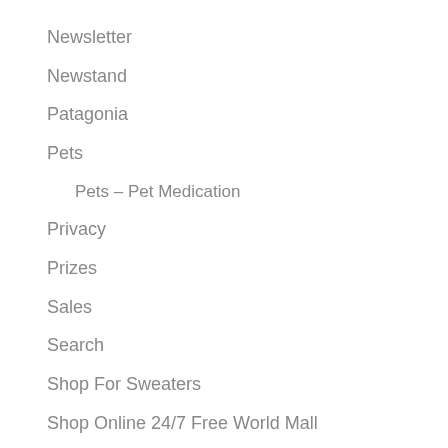Newsletter
Newstand
Patagonia
Pets
Pets – Pet Medication
Privacy
Prizes
Sales
Search
Shop For Sweaters
Shop Online 24/7 Free World Mall
Sitemap
Sporting Goods
Archery
ATV – Off Road Go Karts